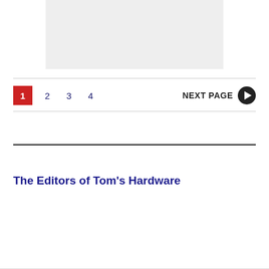[Figure (other): Light gray rectangular image placeholder area]
1  2  3  4    NEXT PAGE ▶
The Editors of Tom's Hardware